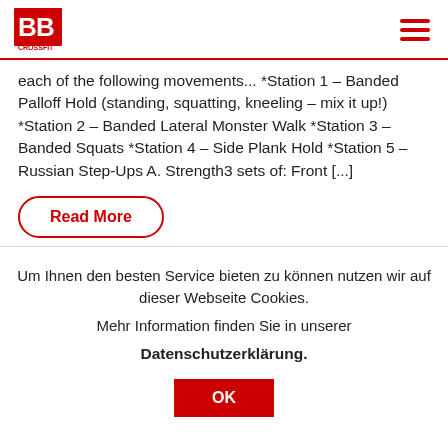BB logo and hamburger menu
each of the following movements... *Station 1 – Banded Palloff Hold (standing, squatting, kneeling – mix it up!) *Station 2 – Banded Lateral Monster Walk *Station 3 – Banded Squats *Station 4 – Side Plank Hold *Station 5 – Russian Step-Ups A. Strength3 sets of: Front [...]
Read More
Um Ihnen den besten Service bieten zu können nutzen wir auf dieser Webseite Cookies.
Mehr Information finden Sie in unserer
Datenschutzerklärung.
OK